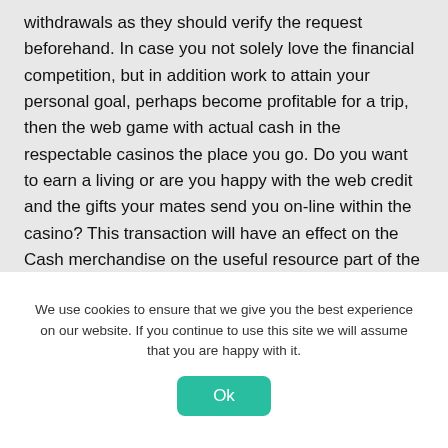withdrawals as they should verify the request beforehand. In case you not solely love the financial competition, but in addition work to attain your personal goal, perhaps become profitable for a trip, then the web game with actual cash in the respectable casinos the place you go. Do you want to earn a living or are you happy with the web credit and the gifts your mates send you on-line within the casino? This transaction will have an effect on the Cash merchandise on the useful resource part of the Wall construction Therapy Unlimited steadiness page.
Development of software application Program
We use cookies to ensure that we give you the best experience on our website. If you continue to use this site we will assume that you are happy with it.